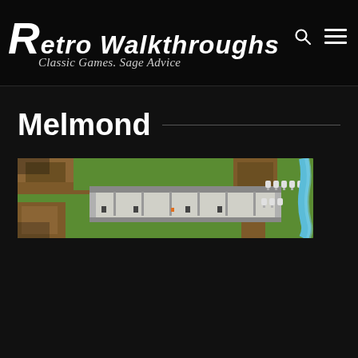Retro Walkthroughs — Classic Games. Sage Advice
Melmond
[Figure (screenshot): Top-down retro video game map screenshot showing the town of Melmond. The map features green grass terrain, brown rocky areas, a gray stone building/town hall in the center, small white tombstone sprites to the right, and a light blue river/water feature on the far right edge.]